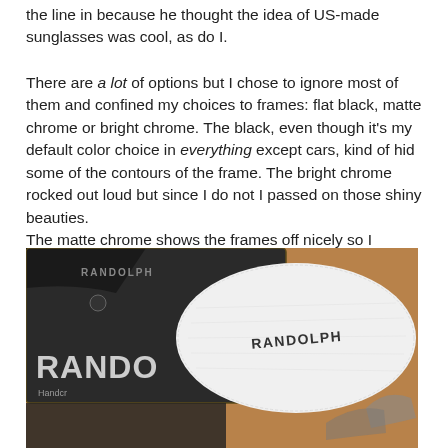the line in because he thought the idea of US-made sunglasses was cool, as do I.
There are a lot of options but I chose to ignore most of them and confined my choices to frames: flat black, matte chrome or bright chrome. The black, even though it's my default color choice in everything except cars, kind of hid some of the contours of the frame. The bright chrome rocked out loud but since I do not I passed on those shiny beauties. The matte chrome shows the frames off nicely so I snatched them up.
[Figure (photo): A photo showing Randolph branded sunglasses case, cleaning cloth, and accessories on a wooden surface. The dark case shows 'RANDOLPH' branding and a white cloth with 'RANDOLPH' text is visible.]